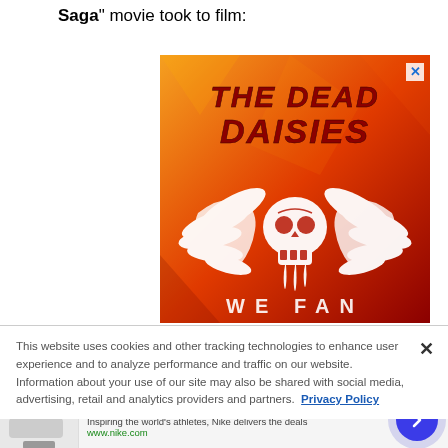Saga" movie took to film:
[Figure (illustration): Advertisement banner for The Dead Daisies band on an orange-to-red gradient background with a winged skull logo in white and the band name in dark red bold italic text.]
This website uses cookies and other tracking technologies to enhance user experience and to analyze performance and traffic on our website. Information about your use of our site may also be shared with social media, advertising, retail and analytics providers and partners. Privacy Policy
Nike. Just Do It
Inspiring the world's athletes, Nike delivers the deals
www.nike.com